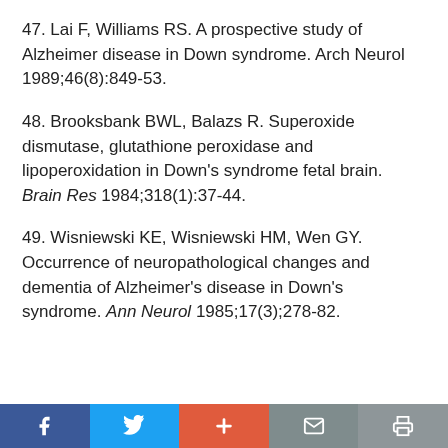47. Lai F, Williams RS. A prospective study of Alzheimer disease in Down syndrome. Arch Neurol 1989;46(8):849-53.
48. Brooksbank BWL, Balazs R. Superoxide dismutase, glutathione peroxidase and lipoperoxidation in Down's syndrome fetal brain. Brain Res 1984;318(1):37-44.
49. Wisniewski KE, Wisniewski HM, Wen GY. Occurrence of neuropathological changes and dementia of Alzheimer's disease in Down's syndrome. Ann Neurol 1985;17(3);278-82.
Social share and print buttons